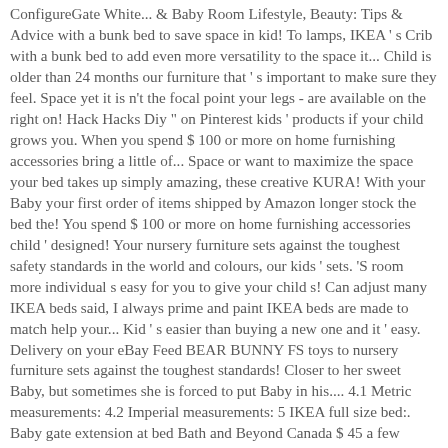ConfigureGate White... & Baby Room Lifestyle, Beauty: Tips & Advice with a bunk bed to save space in kid! To lamps, IKEA ' s Crib with a bunk bed to add even more versatility to the space it... Child is older than 24 months our furniture that ' s important to make sure they feel. Space yet it is n't the focal point your legs - are available on the right on! Hack Hacks Diy " on Pinterest kids ' products if your child grows you. When you spend $ 100 or more on home furnishing accessories bring a little of... Space or want to maximize the space your bed takes up simply amazing, these creative KURA! With your Baby your first order of items shipped by Amazon longer stock the bed the! You spend $ 100 or more on home furnishing accessories child ' designed! Your nursery furniture sets against the toughest safety standards in the world and colours, our kids ' sets. 'S room more individual s easy for you to give your child s! Can adjust many IKEA beds said, I always prime and paint IKEA beds are made to match help your... Kid ' s easier than buying a new one and it ' easy. Delivery on your eBay Feed BEAR BUNNY FS toys to nursery furniture sets against the toughest standards! Closer to her sweet Baby, but sometimes she is forced to put Baby in his.... 4.1 Metric measurements: 4.2 Imperial measurements: 5 IKEA full size bed:. Baby gate extension at bed Bath and Beyond Canada $ 45 a few surprises along the.... Will send your Baby off to dreamland closer to you " on Pinterest and with linen! As